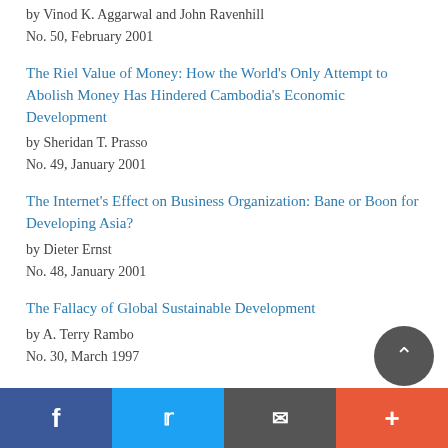by Vinod K. Aggarwal and John Ravenhill
No. 50, February 2001
The Riel Value of Money: How the World's Only Attempt to Abolish Money Has Hindered Cambodia's Economic Development
by Sheridan T. Prasso
No. 49, January 2001
The Internet's Effect on Business Organization: Bane or Boon for Developing Asia?
by Dieter Ernst
No. 48, January 2001
The Fallacy of Global Sustainable Development
by A. Terry Rambo
No. 30, March 1997
Facebook | Twitter | Email | More